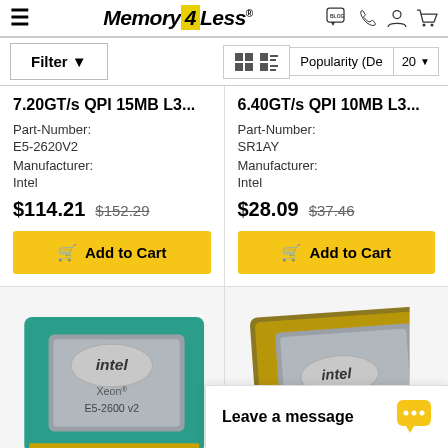Memory4Less — Blog, Phone, Account, Cart navigation header
Filter ▼  |  view icons  |  Popularity (De  |  20
7.20GT/s QPI 15MB L3...
Part-Number: E5-2620V2
Manufacturer: Intel
$114.21  $152.29
6.40GT/s QPI 10MB L3...
Part-Number: SR1AY
Manufacturer: Intel
$28.09  $37.46
[Figure (photo): Intel Xeon E5-2600 v2 processor chip, teal/green PCB with silver metallic top]
[Figure (photo): Intel Xeon processor chip, gold/green PCB with silver metallic top, partially visible]
Leave a message